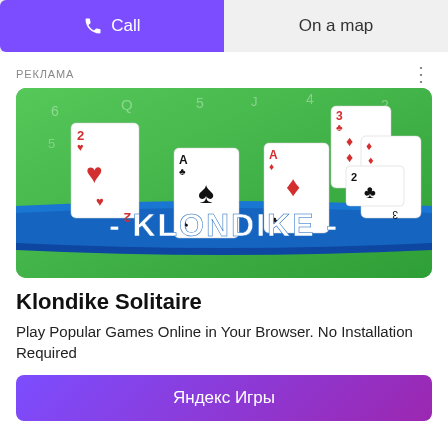Call
On a map
РЕКЛАМА
[Figure (illustration): Klondike Solitaire game advertisement image showing playing cards on a green background with a blue ribbon banner reading KLONDIKE]
Klondike Solitaire
Play Popular Games Online in Your Browser. No Installation Required
Яндекс Игры